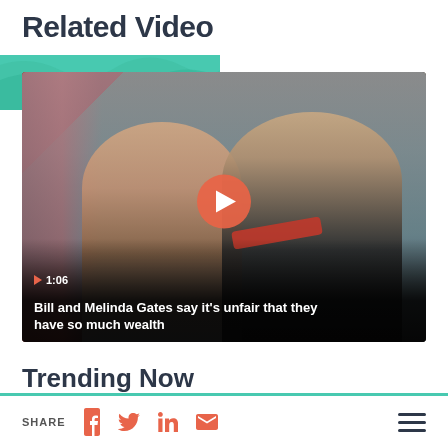Related Video
[Figure (photo): Video thumbnail showing Bill and Melinda Gates smiling, with a red flag in the background. A play button overlay is visible in the center. Duration shows 1:06. Caption reads: Bill and Melinda Gates say it's unfair that they have so much wealth]
Trending Now
SHARE